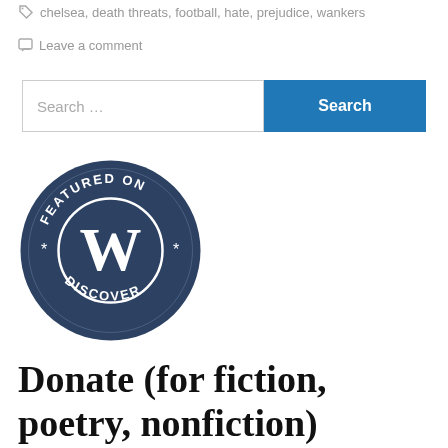chelsea, death threats, football, hate, prejudice, wankers
Leave a comment
Search …
[Figure (logo): WordPress 'Featured on Discover' circular badge with navy background, 'W' logo in center, text 'FEATURED ON' along top arc and 'DISCOVER' along bottom arc, asterisk decorations on sides]
Donate (for fiction, poetry, nonfiction)